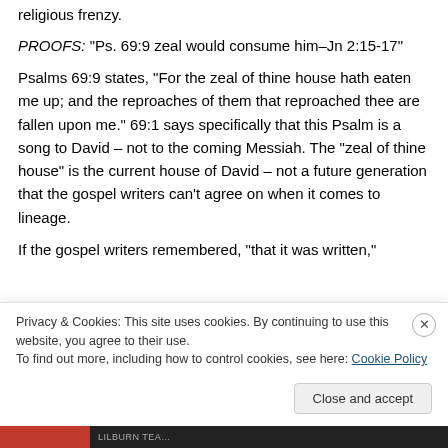religious frenzy.
PROOFS: “Ps. 69:9 zeal would consume him–Jn 2:15-17”
Psalms 69:9 states, “For the zeal of thine house hath eaten me up; and the reproaches of them that reproached thee are fallen upon me.” 69:1 says specifically that this Psalm is a song to David – not to the coming Messiah. The “zeal of thine house” is the current house of David – not a future generation that the gospel writers can’t agree on when it comes to lineage.
If the gospel writers remembered, “that it was written,”
Privacy & Cookies: This site uses cookies. By continuing to use this website, you agree to their use.
To find out more, including how to control cookies, see here: Cookie Policy
Close and accept